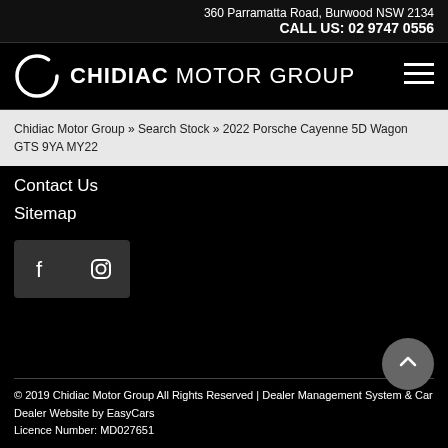360 Parramatta Road, Burwood NSW 2134
CALL US: 02 9747 0556
[Figure (logo): Chidiac Motor Group logo with circular arrow icon and hamburger menu icon]
Chidiac Motor Group » Search Stock » 2022 Porsche Cayenne 5D Wagon GTS 9YA MY22
Contact Us
Sitemap
[Figure (other): Social media icons: Facebook and Instagram]
© 2019 Chidiac Motor Group All Rights Reserved | Dealer Management System & Car Dealer Website by EasyCars
Licence Number: MD027651